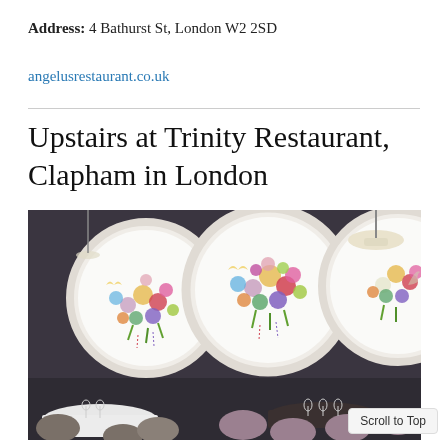Address: 4 Bathurst St, London W2 2SD
angelusrestaurant.co.uk
Upstairs at Trinity Restaurant, Clapham in London
[Figure (photo): Interior of Upstairs at Trinity Restaurant showing three large white circular framed artworks with colorful floral illustrations mounted on a dark grey wall, with white tablecloth tables and mauve/taupe chairs in the foreground.]
Scroll to Top